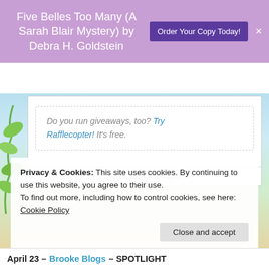Five Belles Too Many (A Sarah Blair Mystery) by Debra H. Goldstein   Order Your Copy Today!
[Figure (screenshot): Rafflecopter giveaway widget embedded in webpage showing 'Do you run giveaways, too? Try Rafflecopter! It's free.' with 'powered by Rafflecopter' footer]
Privacy & Cookies: This site uses cookies. By continuing to use this website, you agree to their use.
To find out more, including how to control cookies, see here:
Cookie Policy
Close and accept
April 23 – Brooke Blogs – SPOTLIGHT